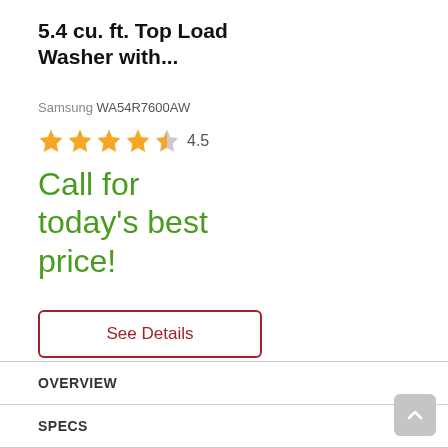5.4 cu. ft. Top Load Washer with...
Samsung WA54R7600AW
★★★★☆ 4.5
Call for today's best price!
See Details
OVERVIEW
SPECS